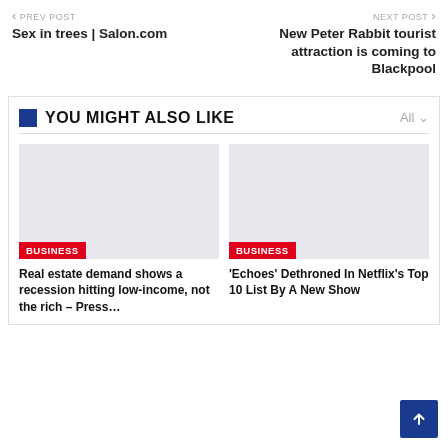← PREV POST | Sex in trees | Salon.com
NEXT POST → | New Peter Rabbit tourist attraction is coming to Blackpool
YOU MIGHT ALSO LIKE
[Figure (photo): Placeholder image for article: Real estate demand shows a recession hitting low-income, not the rich – Press…, tagged BUSINESS]
Real estate demand shows a recession hitting low-income, not the rich – Press…
[Figure (photo): Placeholder image for article: 'Echoes' Dethroned In Netflix's Top 10 List By A New Show, tagged BUSINESS]
'Echoes' Dethroned In Netflix's Top 10 List By A New Show